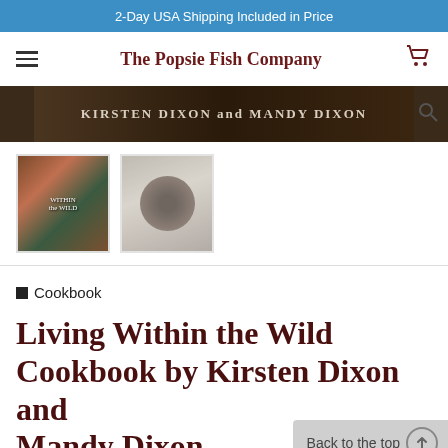2-Day USA Shipping Included in Price
The Popsie Fish Company
[Figure (photo): Dark wood-textured banner with text: KIRSTEN DIXON and MANDY DIXON]
[Figure (photo): Thumbnail of book cover 'Within the Wild']
[Figure (photo): Thumbnail of a bowl with food, dark circular bowl on light background]
Cookbook
Living Within the Wild Cookbook by Kirsten Dixon and Mandy Dixon